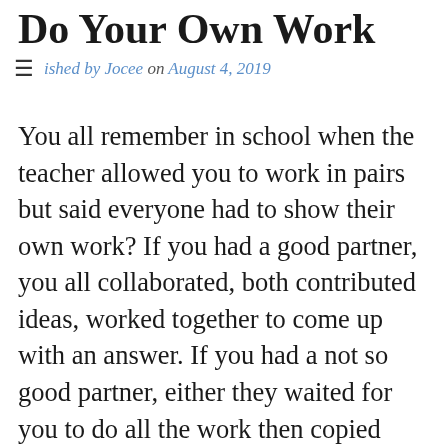Do Your Own Work
ished by Jocee on August 4, 2019
You all remember in school when the teacher allowed you to work in pairs but said everyone had to show their own work? If you had a good partner, you all collaborated, both contributed ideas, worked together to come up with an answer. If you had a not so good partner, either they waited for you to do all the work then copied your answer or they were unwilling to let you do any of the work and insisted you copy their answer. In both cases, both parties didn't do their own work. Too many times in relationships